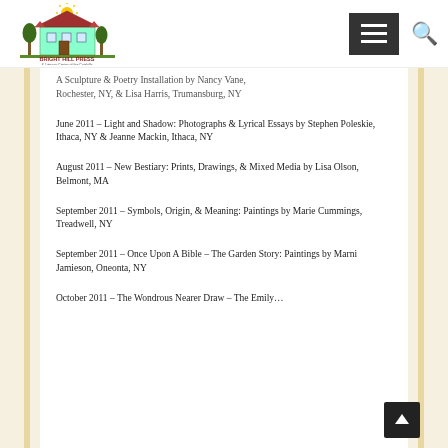[Figure (logo): Bright Hill Press & Literacy Center of the Catskills logo with house and sun illustration]
A Sculpture & Poetry Installation by Nancy Vane, Rochester, NY, & Lisa Harris, Trumansburg, NY
June 2011 – Light and Shadow: Photographs & Lyrical Essays by Stephen Poleskie, Ithaca, NY & Jeanne Mackin, Ithaca, NY
August 2011 – New Bestiary: Prints, Drawings, & Mixed Media by Lisa Olson, Belmont, MA
September 2011 – Symbols, Origin, & Meaning: Paintings by Marie Cummings, Treadwell, NY
September 2011 – Once Upon A Bible – The Garden Story: Paintings by Marni Jamieson, Oneonta, NY
October 2011 – The Wondrous Nearer Draw – The Emily…